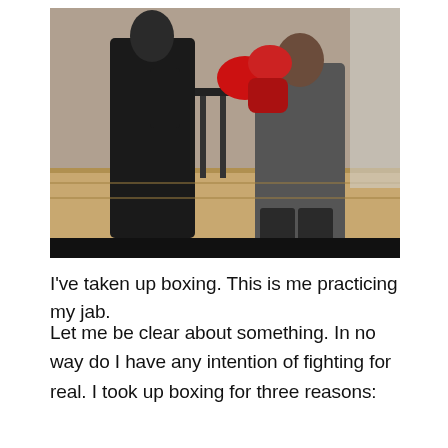[Figure (photo): Two people boxing or sparring indoors. One person on the left is dressed in black and the other on the right wears a grey top and uses red boxing gloves. They appear to be in a gym setting.]
I've taken up boxing. This is me practicing my jab.
Let me be clear about something. In no way do I have any intention of fighting for real. I took up boxing for three reasons: